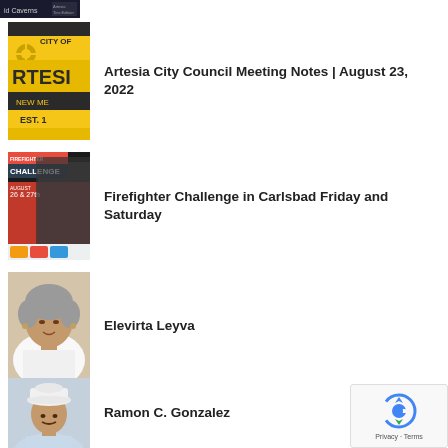[Figure (photo): Partially clipped dark image at top left, showing partial text 'id Caverns']
[Figure (photo): City of Artesia, New Mexico logo/sign — yellow and black municipal sign with 'CITY OF ARTESIA NEW MEXICO EST.' text]
Artesia City Council Meeting Notes | August 23, 2022
[Figure (photo): Firefighter Challenge event poster — showing firefighter and event details for Carlsbad, August dates]
Firefighter Challenge in Carlsbad Friday and Saturday
[Figure (photo): Portrait photo of Elevirta Leyva, an older woman with gray hair]
Elevirta Leyva
[Figure (photo): Portrait photo of Ramon C. Gonzalez, an older man wearing a white cowboy hat]
Ramon C. Gonzalez